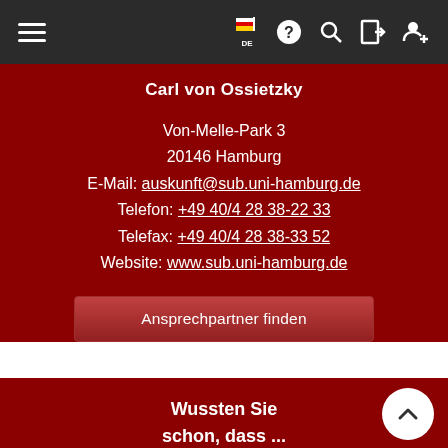Navigation bar with hamburger menu, DE flag, help, search, login, and user icons
Carl von Ossietzky
Von-Melle-Park 3
20146 Hamburg
E-Mail: auskunft@sub.uni-hamburg.de
Telefon: +49 40/4 28 38-22 33
Telefax: +49 40/4 28 38-33 52
Website: www.sub.uni-hamburg.de
Ansprechpartner finden
Wussten Sie schon, dass ...
... die Förderbänder, auf denen wir unsere